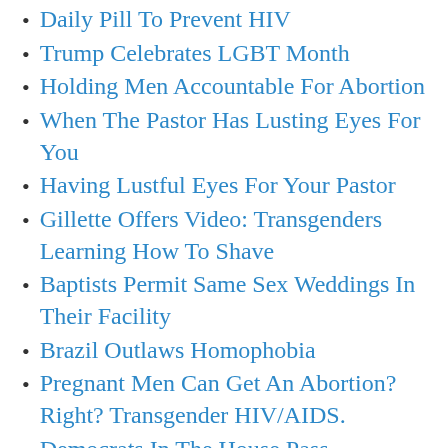Daily Pill To Prevent HIV
Trump Celebrates LGBT Month
Holding Men Accountable For Abortion
When The Pastor Has Lusting Eyes For You
Having Lustful Eyes For Your Pastor
Gillette Offers Video: Transgenders Learning How To Shave
Baptists Permit Same Sex Weddings In Their Facility
Brazil Outlaws Homophobia
Pregnant Men Can Get An Abortion? Right? Transgender HIV/AIDS.
Democrats In The House Pass Homosexual Rights Bill
Sex Strike To Attack Anti Abortion Law
Porn's BIG Secret
Giving In To Lust Is Facing Them To Pl…